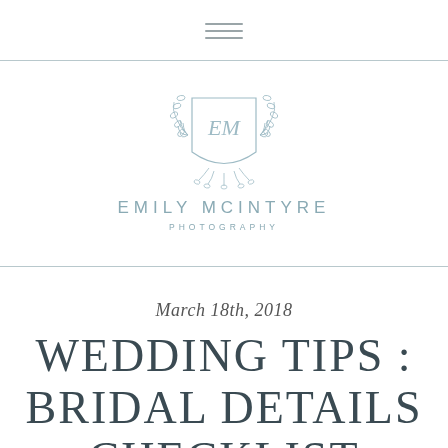≡ (hamburger menu icon)
[Figure (logo): Emily McIntyre Photography circular crest logo with EM monogram and laurel branches in muted blue-grey]
EMILY MCINTYRE
PHOTOGRAPHY
March 18th, 2018
WEDDING TIPS : BRIDAL DETAILS CHECKLIST